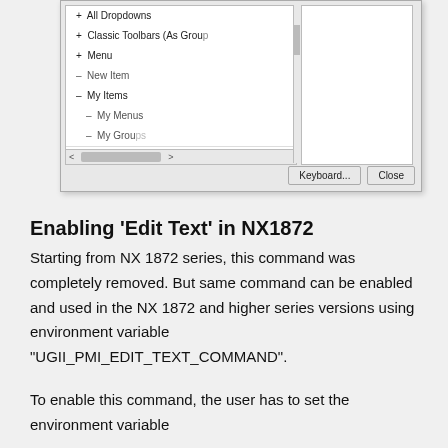[Figure (screenshot): Screenshot of a Windows dialog showing a tree with items: All Dropdowns, Classic Toolbars (As Group), Menu, New Item, My Items, My Menus, My Groups. Two buttons at bottom right: Keyboard... and Close.]
Enabling ‘Edit Text’ in NX1872
Starting from NX 1872 series, this command was completely removed. But same command can be enabled and used in the NX 1872 and higher series versions using environment variable “UGII_PMI_EDIT_TEXT_COMMAND”.
To enable this command, the user has to set the environment variable